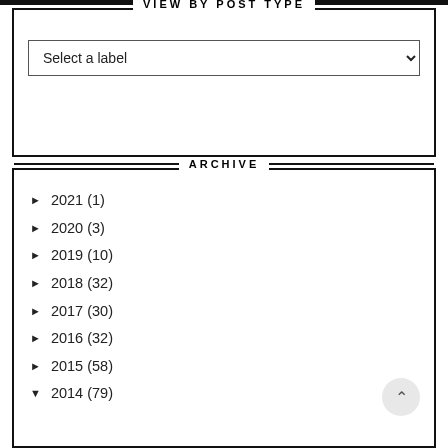VIEW BY POST TYPE
Select a label
ARCHIVE
► 2021 (1)
► 2020 (3)
► 2019 (10)
► 2018 (32)
► 2017 (30)
► 2016 (32)
► 2015 (58)
▼ 2014 (79)